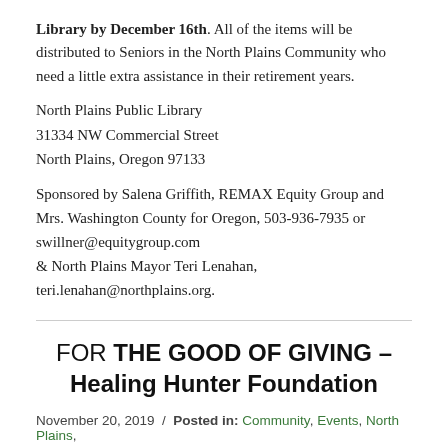Library by December 16th. All of the items will be distributed to Seniors in the North Plains Community who need a little extra assistance in their retirement years.
North Plains Public Library
31334 NW Commercial Street
North Plains, Oregon 97133
Sponsored by Salena Griffith, REMAX Equity Group and Mrs. Washington County for Oregon, 503-936-7935 or swillner@equitygroup.com & North Plains Mayor Teri Lenahan, teri.lenahan@northplains.org.
FOR THE GOOD OF GIVING – Healing Hunter Foundation
November 20, 2019  /  Posted in: Community, Events, North Plains,